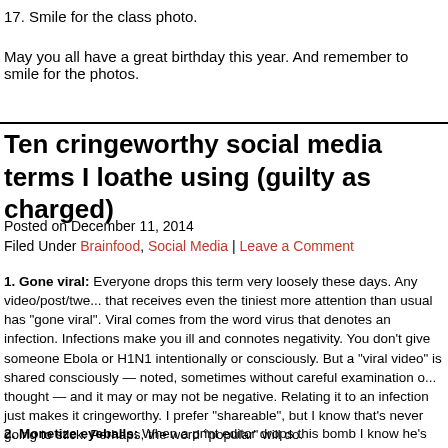17. Smile for the class photo.
May you all have a great birthday this year. And remember to smile for the photos.
Ten cringeworthy social media terms I loathe using (guilty as charged)
Posted on December 11, 2014
Filed Under Brainfood, Social Media | Leave a Comment
1. Gone viral: Everyone drops this term very loosely these days. Any video/post/twe... that receives even the tiniest more attention than usual has "gone viral". Viral comes from the word virus that denotes an infection. Infections make you ill and connotes negativity. You don't give someone Ebola or H1N1 intentionally or consciously. But a "viral video" is shared consciously — noted, sometimes without careful examination o... thought — and it may or may not be negative. Relating it to an infection just makes it cringeworthy. I prefer "shareable", but I know that's never going to stick. Perhaps, the word "popular" will do.
2. Monetize eyeballs: When a print editor drops this bomb I know he's gone over to...